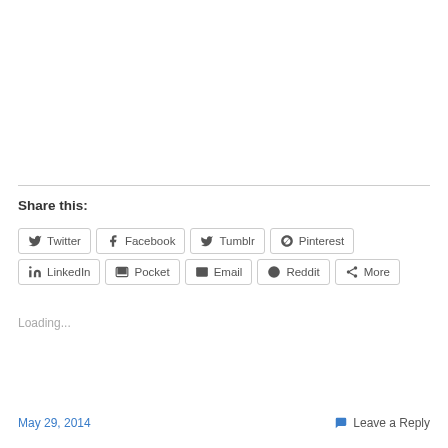Share this:
Twitter  Facebook  Tumblr  Pinterest  LinkedIn  Pocket  Email  Reddit  More
Loading...
May 29, 2014
Leave a Reply